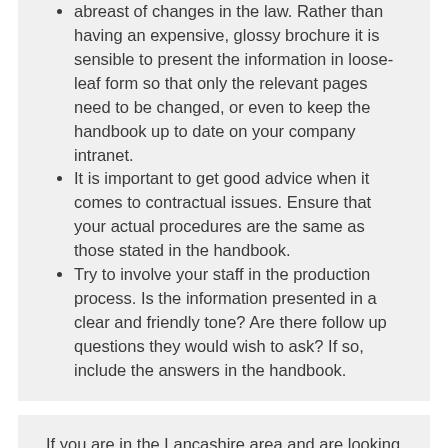abreast of changes in the law. Rather than having an expensive, glossy brochure it is sensible to present the information in loose-leaf form so that only the relevant pages need to be changed, or even to keep the handbook up to date on your company intranet.
It is important to get good advice when it comes to contractual issues. Ensure that your actual procedures are the same as those stated in the handbook.
Try to involve your staff in the production process. Is the information presented in a clear and friendly tone? Are there follow up questions they would wish to ask? If so, include the answers in the handbook.
If you are in the Lancashire area and are looking for support and advice from a team of